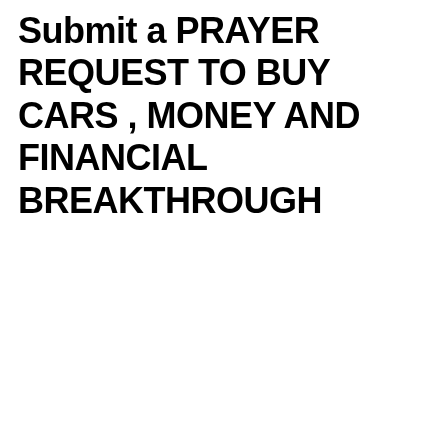Submit a PRAYER REQUEST TO BUY CARS , MONEY AND FINANCIAL BREAKTHROUGH